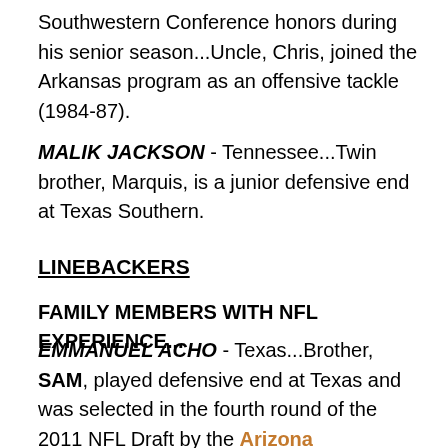Southwestern Conference honors during his senior season...Uncle, Chris, joined the Arkansas program as an offensive tackle (1984-87).
MALIK JACKSON - Tennessee...Twin brother, Marquis, is a junior defensive end at Texas Southern.
LINEBACKERS
FAMILY MEMBERS WITH NFL EXPERIENCE...
EMMANUEL ACHO - Texas...Brother, SAM, played defensive end at Texas and was selected in the fourth round of the 2011 NFL Draft by the Arizona Cardinals...Both parents, Sonny and Christie, were born in Nigeria, where his mother ran track at University College Hospital in Nigeria.